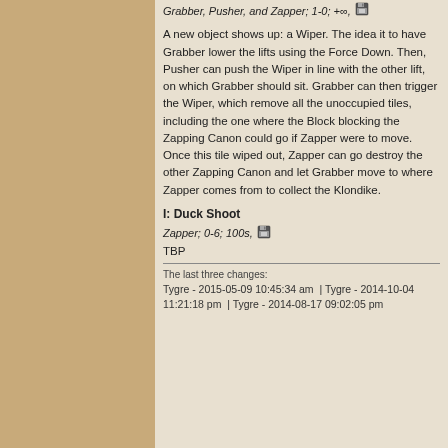Grabber, Pusher, and Zapper; 1-0; +∞, [floppy icon]
A new object shows up: a Wiper. The idea it to have Grabber lower the lifts using the Force Down. Then, Pusher can push the Wiper in line with the other lift, on which Grabber should sit. Grabber can then trigger the Wiper, which remove all the unoccupied tiles, including the one where the Block blocking the Zapping Canon could go if Zapper were to move. Once this tile wiped out, Zapper can go destroy the other Zapping Canon and let Grabber move to where Zapper comes from to collect the Klondike.
I: Duck Shoot
Zapper; 0-6; 100s, [floppy icon]
TBP
The last three changes:
Tygre - 2015-05-09 10:45:34 am  |  Tygre - 2014-10-04 11:21:18 pm  |  Tygre - 2014-08-17 09:02:05 pm